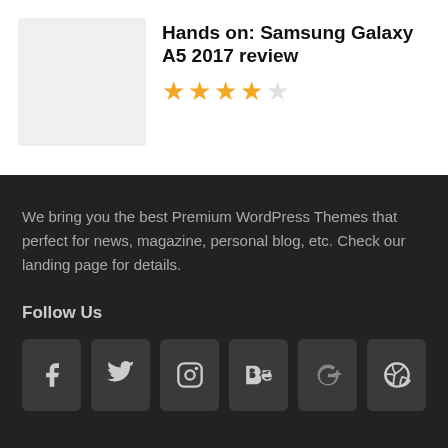[Figure (photo): Thumbnail image placeholder (light gray box)]
Hands on: Samsung Galaxy A5 2017 review
★★★★☆ (4 out of 5 stars rating)
We bring you the best Premium WordPress Themes that perfect for news, magazine, personal blog, etc. Check our landing page for details.
Follow Us
[Figure (infographic): Social media icons: Facebook, Twitter, Instagram, Behance, Google+, Dribbble]